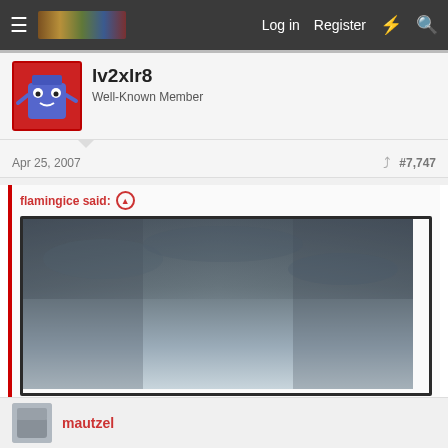Log in  Register
lv2xlr8
Well-Known Member
Apr 25, 2007  #7,747
flamingice said:
[Figure (photo): A dark, moody sky photograph with gradient from dark grey at top to lighter misty grey at bottom, with 'Click to expand...' text below]
I like the dark, eeriness to your photo. 😉
mautzel